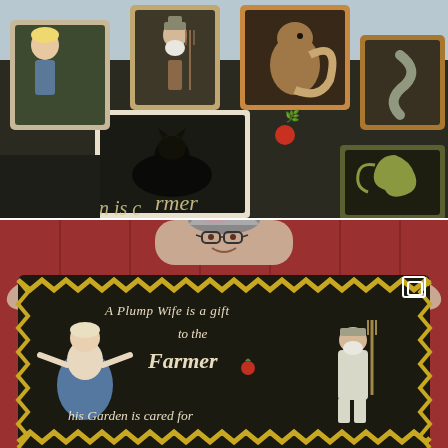[Figure (photo): A collection of hooked rug pillow covers displayed on a dark background. The pillows feature folk art designs including a girl figure, an old farmer man with a pitchfork, a black cat, a squirrel, and a snake/worm. Partial text visible reads 'rmer', 'den is c' suggesting the full text reads 'The Farmer's Garden is cared for'. Colors are muted and earthy with dark backgrounds.]
[Figure (photo): A woman holding up a large hooked rug in front of a red wooden fence/barn wall. She is peeking over the top of the rug with glasses and pink-tipped hair. The rug features folk art figures of a plump woman in a blue dress and an old farmer man with a pitchfork, surrounded by the text 'A Plump Wife is a gift to the Farmer his Garden is cared for'. The rug has a dark background with a yellow zigzag border. A small copy/share icon is visible in the top right corner of the photo.]